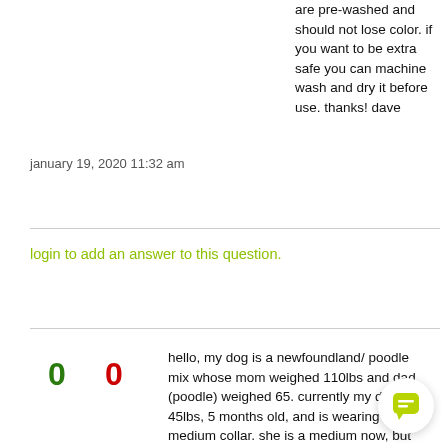are pre-washed and should not lose color. if you want to be extra safe you can machine wash and dry it before use. thanks! dave
january 19, 2020 11:32 am
login to add an answer to this question.
hello, my dog is a newfoundland/ poodle mix whose mom weighed 110lbs and dad (poodle) weighed 65. currently my dog is 45lbs, 5 months old, and is wearing a medium collar. she is a medium now, but am afraid she will grow out of that in a few months.
[Figure (other): Chat bubble icon button in bottom right corner]